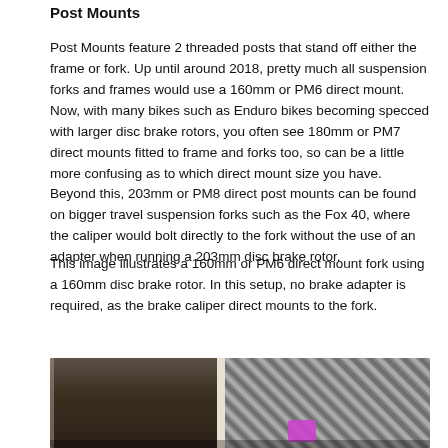Post Mounts
Post Mounts feature 2 threaded posts that stand off either the frame or fork. Up until around 2018, pretty much all suspension forks and frames would use a 160mm or PM6 direct mount. Now, with many bikes such as Enduro bikes becoming specced with larger disc brake rotors, you often see 180mm or PM7 direct mounts fitted to frame and forks too, so can be a little more confusing as to which direct mount size you have. Beyond this, 203mm or PM8 direct post mounts can be found on bigger travel suspension forks such as the Fox 40, where the caliper would bolt directly to the fork without the use of an adapter when running a 203mm disc brake rotor.
This image illustrates a 160mm or PM6 direct mount fork using a 160mm disc brake rotor. In this setup, no brake adapter is required, as the brake caliper direct mounts to the fork.
[Figure (photo): Close-up photo of a post mount fork showing two threaded posts. Left side shows dark cylindrical fork legs, right side shows a textured diamond-pattern background with a purple/pink colored element visible.]